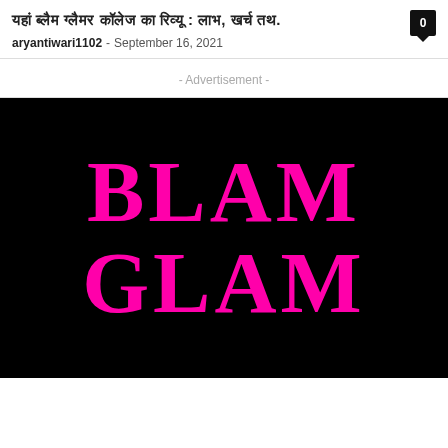यहां ब्लैम ग्लैमर कॉलेज का रिव्यू : लाभ, खर्च तथा.
aryantiwari1102 – September 16, 2021
- Advertisement -
[Figure (logo): Black background with large hot pink bold serif text reading BLAM GLAM on two lines]